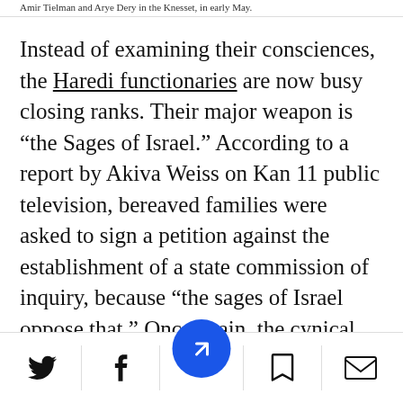Amir Tielman and Arye Dery in the Knesset, in early May.
Instead of examining their consciences, the Haredi functionaries are now busy closing ranks. Their major weapon is “the Sages of Israel.” According to a report by Akiva Weiss on Kan 11 public television, bereaved families were asked to sign a petition against the establishment of a state commission of inquiry, because “the sages of Israel oppose that.” Once again, the cynical use of rabbinical branding in the service of personal politics; and once again there is the ridicule of Rabbi Kanievsky, who is not a sophisticated
Twitter | Facebook | Share | Bookmark | Email